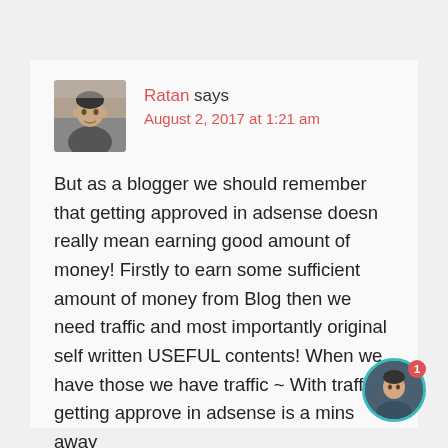[Figure (photo): Avatar photo of commenter Ratan, young man, grayscale]
Ratan says
August 2, 2017 at 1:21 am
But as a blogger we should remember that getting approved in adsense doesn really mean earning good amount of money! Firstly to earn some sufficient amount of money from Blog then we need traffic and most importantly original self written USEFUL contents! When we have those we have traffic ~ With traffic getting approve in adsense is a mins away